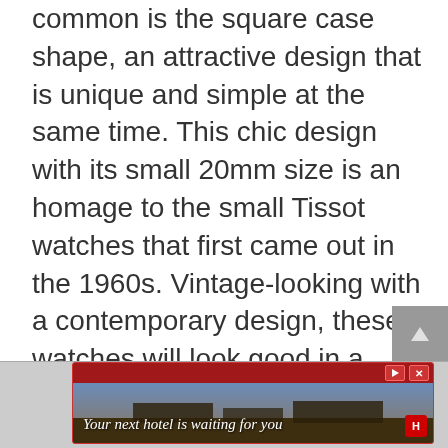common is the square case shape, an attractive design that is unique and simple at the same time. This chic design with its small 20mm size is an homage to the small Tissot watches that first came out in the 1960s. Vintage-looking with a contemporary design, these watches will look good in a professional setting or a formal event.
[Figure (other): Advertisement banner: 'Your next hotel is waiting for you' on a red background with a landscape hotel photo]